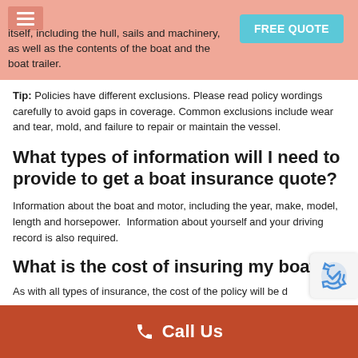itself, including the hull, sails and machinery, as well as the contents of the boat and the boat trailer.
FREE QUOTE
Tip: Policies have different exclusions. Please read policy wordings carefully to avoid gaps in coverage. Common exclusions include wear and tear, mold, and failure to repair or maintain the vessel.
What types of information will I need to provide to get a boat insurance quote?
Information about the boat and motor, including the year, make, model, length and horsepower.  Information about yourself and your driving record is also required.
What is the cost of insuring my boat?
As with all types of insurance, the cost of the policy will be d
Call Us